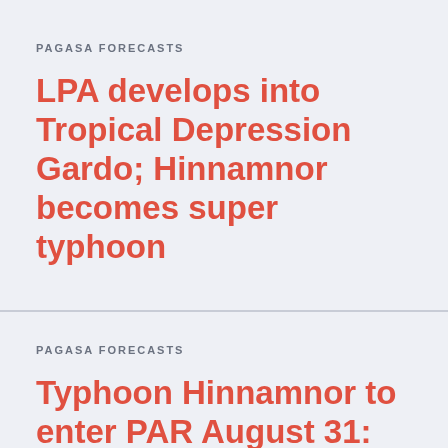PAGASA FORECASTS
LPA develops into Tropical Depression Gardo; Hinnamnor becomes super typhoon
PAGASA FORECASTS
Typhoon Hinnamnor to enter PAR August 31: LPA may become tropical depression